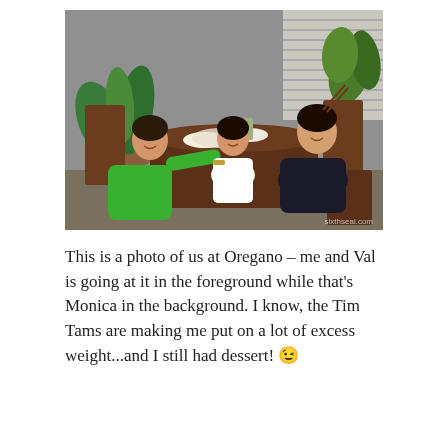[Figure (photo): Three people dining at a restaurant called Oregano. A woman in a green shirt (Val) is in the foreground left reaching across the dark wood table. A woman (Monica) is in the background center smiling. A young man in a dark t-shirt is on the right holding chopsticks. Food, drinks, and plates are on the table. Plants and a window with blinds are visible in the background. Watermark reads sixthseal.com.]
This is a photo of us at Oregano – me and Val is going at it in the foreground while that's Monica in the background. I know, the Tim Tams are making me put on a lot of excess weight...and I still had dessert! 😉